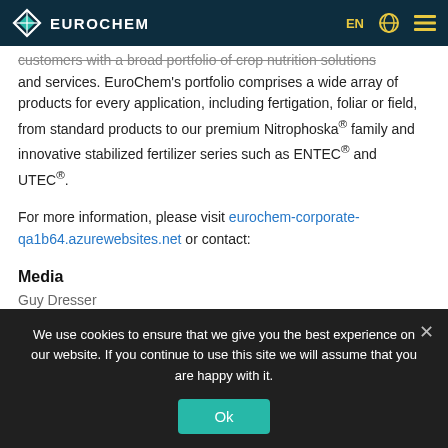EuroChem | EN
customers with a broad portfolio of crop nutrition solutions and services. EuroChem's portfolio comprises a wide array of products for every application, including fertigation, foliar or field, from standard products to our premium Nitrophoska® family and innovative stabilized fertilizer series such as ENTEC® and UTEC®.
For more information, please visit eurochem-corporate-qa1b64.azurewebsites.net or contact:
Media
Guy Dresser
We use cookies to ensure that we give you the best experience on our website. If you continue to use this site we will assume that you are happy with it.